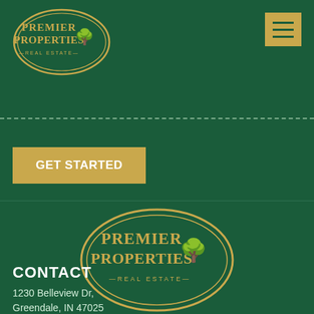[Figure (logo): Premier Properties Real Estate oval logo top left, green background with gold text and tree/house illustration]
[Figure (other): Gold hamburger menu button top right with three horizontal lines]
GET STARTED
[Figure (logo): Premier Properties Real Estate large oval logo centered, green background with gold border and gold text]
CONTACT
1230 Belleview Dr,
Greendale, IN 47025